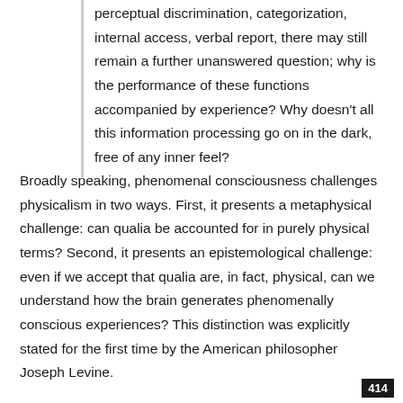perceptual discrimination, categorization, internal access, verbal report, there may still remain a further unanswered question; why is the performance of these functions accompanied by experience? Why doesn't all this information processing go on in the dark, free of any inner feel?
Broadly speaking, phenomenal consciousness challenges physicalism in two ways. First, it presents a metaphysical challenge: can qualia be accounted for in purely physical terms? Second, it presents an epistemological challenge: even if we accept that qualia are, in fact, physical, can we understand how the brain generates phenomenally conscious experiences? This distinction was explicitly stated for the first time by the American philosopher Joseph Levine.
414